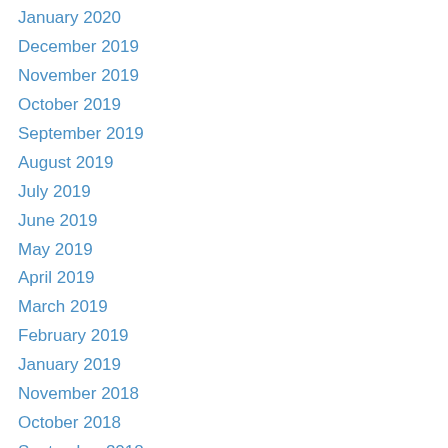January 2020
December 2019
November 2019
October 2019
September 2019
August 2019
July 2019
June 2019
May 2019
April 2019
March 2019
February 2019
January 2019
November 2018
October 2018
September 2018
August 2018
July 2018
June 2018
May 2018